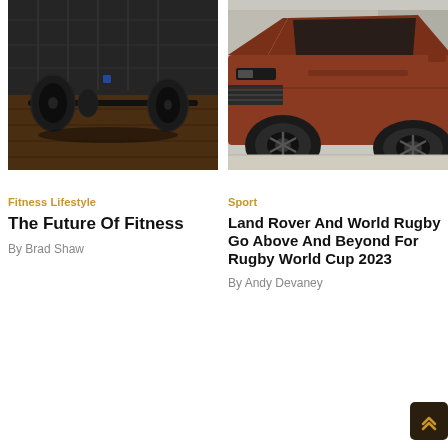[Figure (photo): Barbell weights on a wooden floor in a dimly lit gym/dojo setting]
[Figure (photo): Copper/red Range Rover SUV parked on a paved surface in an urban setting]
Fitness Lifestyle
The Future Of Fitness
By Brad Shaw
Sport
Land Rover And World Rugby Go Above And Beyond For Rugby World Cup 2023
By Andy Devaney